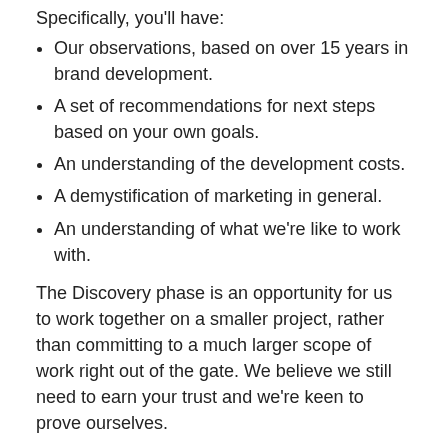Specifically, you'll have:
Our observations, based on over 15 years in brand development.
A set of recommendations for next steps based on your own goals.
An understanding of the development costs.
A demystification of marketing in general.
An understanding of what we're like to work with.
The Discovery phase is an opportunity for us to work together on a smaller project, rather than committing to a much larger scope of work right out of the gate. We believe we still need to earn your trust and we're keen to prove ourselves.
TIMING:
3–4 weeks
This is a month that remains in place the ade is and the right...